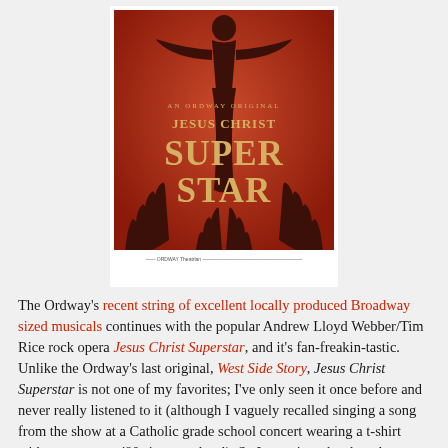[Figure (illustration): Promotional poster for Jesus Christ Superstar at the Ordway. Red/orange background with a silhouetted figure with arms outstretched and hands reaching up from below. Text reads 'AN ORDWAY ORIGINAL / JESUS CHRIST / SUPER / STAR'. Below the poster image is a caption line with logos and small text.]
The Ordway's recent string of excellent locally produced Broadway sized musicals continues with the popular Andrew Lloyd Webber/Tim Rice rock opera Jesus Christ Superstar, and it's fan-freakin-tastic. Unlike the Ordway's last original, West Side Story, Jesus Christ Superstar is not one of my favorites; I've only seen it once before and never really listened to it (although I vaguely recalled singing a song from the show at a Catholic grade school concert wearing a t-shirt with an awesome '80s iron-on decal). So I went into the show last night with mostly fresh eyes. I still think the piece is a bit weird (the heavy story of the life and death of Jesus